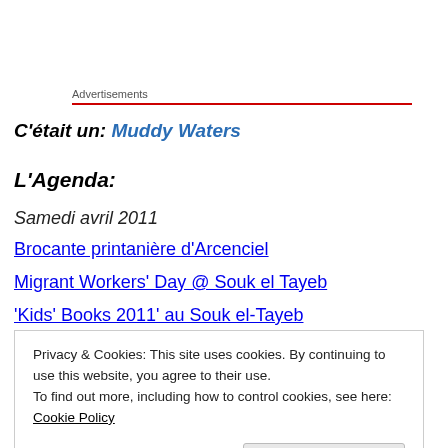Advertisements
C'était un: Muddy Waters
L'Agenda:
Samedi avril 2011
Brocante printanière d'Arcenciel
Migrant Workers' Day @ Souk el Tayeb
'Kids' Books 2011' au Souk el-Tayeb
Privacy & Cookies: This site uses cookies. By continuing to use this website, you agree to their use. To find out more, including how to control cookies, see here: Cookie Policy
Close and accept